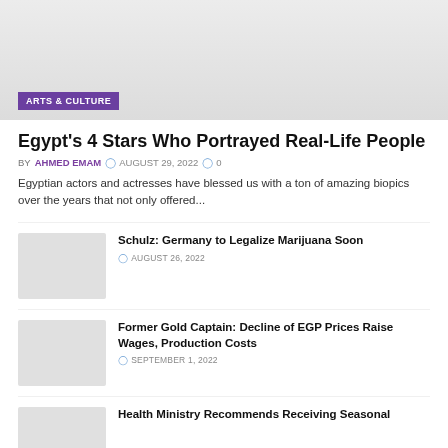[Figure (photo): Hero image placeholder with light gray background]
ARTS & CULTURE
Egypt's 4 Stars Who Portrayed Real-Life People
BY AHMED EMAM  AUGUST 29, 2022  0
Egyptian actors and actresses have blessed us with a ton of amazing biopics over the years that not only offered...
[Figure (photo): Thumbnail image placeholder]
Schulz: Germany to Legalize Marijuana Soon
AUGUST 26, 2022
[Figure (photo): Thumbnail image placeholder]
Former Gold Captain: Decline of EGP Prices Raise Wages, Production Costs
SEPTEMBER 1, 2022
[Figure (photo): Thumbnail image placeholder]
Health Ministry Recommends Receiving Seasonal